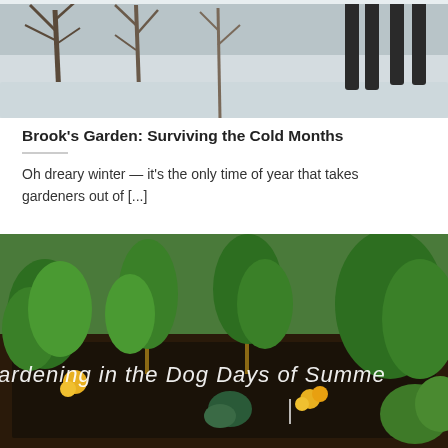[Figure (photo): Winter garden scene with bare trees and snow in the background]
Brook's Garden: Surviving the Cold Months
Oh dreary winter — it's the only time of year that takes gardeners out of [...]
[Figure (photo): Raised garden bed with lush green plants, marigolds, and a chalkboard sign reading 'Gardening in the Dog Days of Summer']